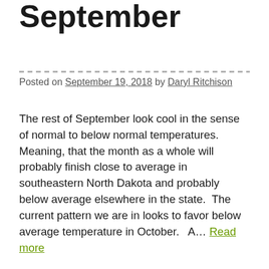September
Posted on September 19, 2018 by Daryl Ritchison
The rest of September look cool in the sense of normal to below normal temperatures. Meaning, that the month as a whole will probably finish close to average in southeastern North Dakota and probably below average elsewhere in the state.  The current pattern we are in looks to favor below average temperature in October.   A… Read more